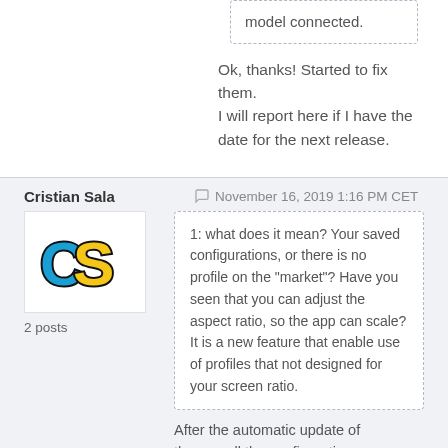model connected.
Ok, thanks! Started to fix them. I will report here if I have the date for the next release.
Cristian Sala
November 16, 2019 1:16 PM CET
[Figure (logo): CS logo in blue and yellow pixelated style]
2 posts
1: what does it mean? Your saved configurations, or there is no profile on the "market"? Have you seen that you can adjust the aspect ratio, so the app can scale? It is a new feature that enable use of profiles that not designed for your screen ratio.
After the automatic update of the app all the configurations